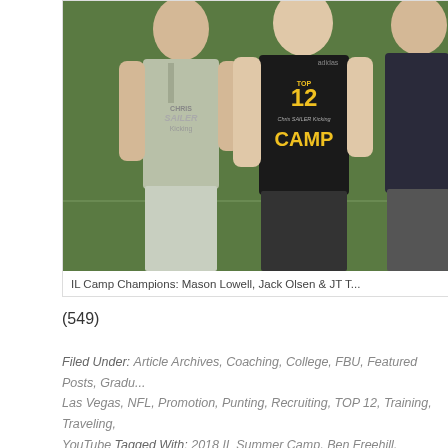[Figure (photo): Three young men standing on a green field, posing together. Left person wears a gray Chris Sailer Kicking shirt, center person wears a black TOP 12 Chris Sailer Kicking CAMP shirt, right person partially visible in dark clothing.]
IL Camp Champions: Mason Lowell, Jack Olsen & JT T...
(549)
Filed Under: Article Archives, Coaching, College, FBU, Featured Posts, Gradu... Las Vegas, NFL, Promotion, Punting, Recruiting, TOP 12, Training, Traveling, YouTube Tagged With: 2018 IL Summer Camp, Ben Freehill, Cameron Shirkey, Van Eekeran, Expsoure, Jack Olsen, James Turner, JJ Wadas, JT Turner, kicking...